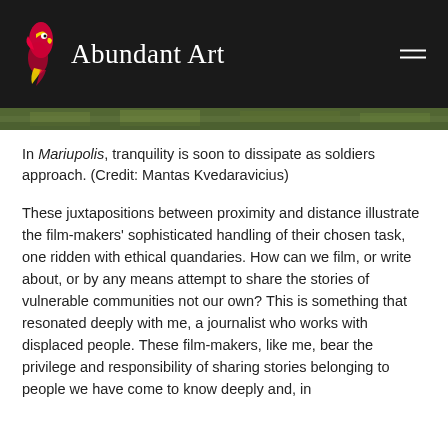Abundant Art
[Figure (photo): Partial view of an outdoor scene with green/natural tones — image strip]
In Mariupolis, tranquility is soon to dissipate as soldiers approach. (Credit: Mantas Kvedaravicius)
These juxtapositions between proximity and distance illustrate the film-makers' sophisticated handling of their chosen task, one ridden with ethical quandaries. How can we film, or write about, or by any means attempt to share the stories of vulnerable communities not our own? This is something that resonated deeply with me, a journalist who works with displaced people. These film-makers, like me, bear the privilege and responsibility of sharing stories belonging to people we have come to know deeply and, in